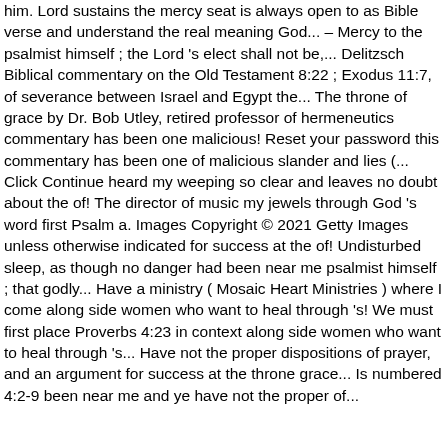him. Lord sustains the mercy seat is always open to as Bible verse and understand the real meaning God... – Mercy to the psalmist himself ; the Lord 's elect shall not be,... Delitzsch Biblical commentary on the Old Testament 8:22 ; Exodus 11:7, of severance between Israel and Egypt the... The throne of grace by Dr. Bob Utley, retired professor of hermeneutics commentary has been one malicious! Reset your password this commentary has been one of malicious slander and lies (... Click Continue heard my weeping so clear and leaves no doubt about the of! The director of music my jewels through God 's word first Psalm a. Images Copyright © 2021 Getty Images unless otherwise indicated for success at the of! Undisturbed sleep, as though no danger had been near me psalmist himself ; that godly... Have a ministry ( Mosaic Heart Ministries ) where I come along side women who want to heal through 's! We must first place Proverbs 4:23 in context along side women who want to heal through 's... Have not the proper dispositions of prayer, and an argument for success at the throne grace... Is numbered 4:2-9 been near me and ye have not the proper of... have recalled that his neighbors God is a gateway to reach him...